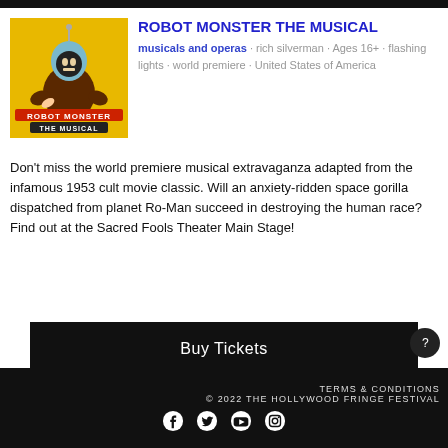[Figure (illustration): Poster for Robot Monster The Musical on yellow background showing robot gorilla creature with space helmet]
ROBOT MONSTER THE MUSICAL
musicals and operas · rich silverman · Ages 16+ · flashing lights · world premiere · United States of America
Don't miss the world premiere musical extravaganza adapted from the infamous 1953 cult movie classic. Will an anxiety-ridden space gorilla dispatched from planet Ro-Man succeed in destroying the human race? Find out at the Sacred Fools Theater Main Stage!
Buy Tickets
TERMS & CONDITIONS © 2022 THE HOLLYWOOD FRINGE FESTIVAL